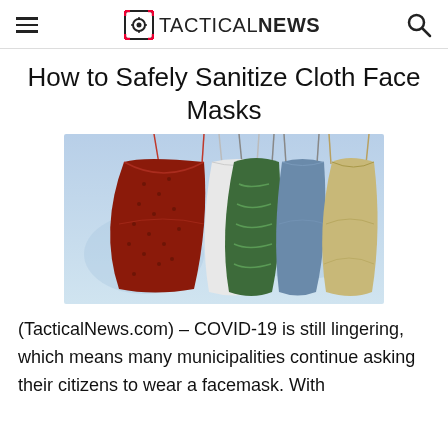TACTICALNEWS
How to Safely Sanitize Cloth Face Masks
[Figure (photo): Several colorful cloth face masks hanging by strings, including red patterned, white, green patterned, blue, and tan/beige masks against a blurred outdoor background.]
(TacticalNews.com) – COVID-19 is still lingering, which means many municipalities continue asking their citizens to wear a facemask. With